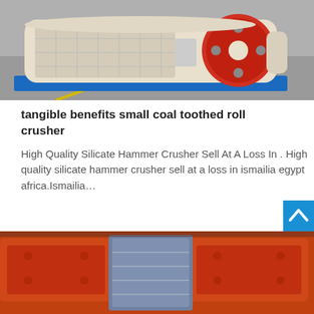[Figure (photo): Industrial toothed roll crusher machine, cream/beige colored with red flywheel, sitting on a blue pallet on a concrete floor.]
tangible benefits small coal toothed roll crusher
High Quality Silicate Hammer Crusher Sell At A Loss In . High quality silicate hammer crusher sell at a loss in ismailia egypt africa.Ismailia…
[Figure (photo): Close-up of orange industrial toothed roll crusher machinery with plastic-wrapped components.]